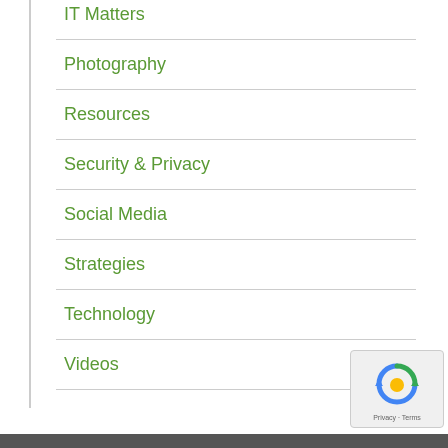IT Matters
Photography
Resources
Security & Privacy
Social Media
Strategies
Technology
Videos